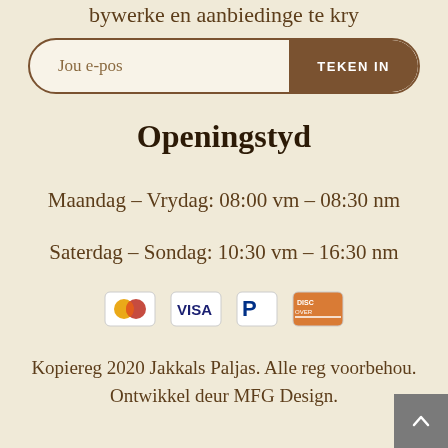bywerke en aanbiedinge te kry
Jou e-pos
TEKEN IN
Openingstyd
Maandag – Vrydag: 08:00 vm – 08:30 nm
Saterdag – Sondag: 10:30 vm – 16:30 nm
[Figure (other): Payment method icons: Mastercard, Visa, PayPal, Discover]
Kopiereg 2020 Jakkals Paljas. Alle reg voorbehou. Ontwikkel deur MFG Design.